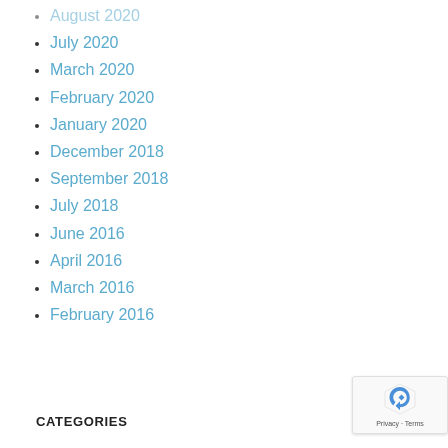August 2020
July 2020
March 2020
February 2020
January 2020
December 2018
September 2018
July 2018
June 2016
April 2016
March 2016
February 2016
CATEGORIES